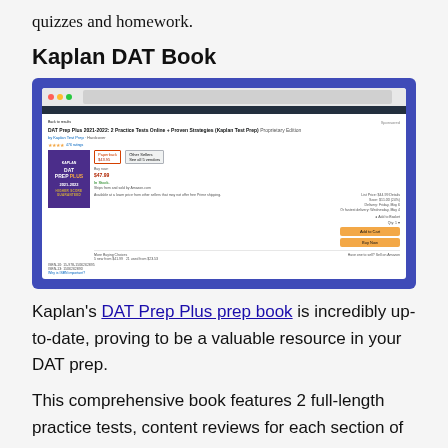quizzes and homework.
Kaplan DAT Book
[Figure (screenshot): Screenshot of Amazon product page for 'DAT Prep Plus 2021-2022: 2 Practice Tests Online + Proven Strategies (Kaplan Test Prep) Proprietary Edition' showing the book cover, price, and purchase options on Amazon.com, displayed inside a blue-bordered browser window.]
Kaplan's DAT Prep Plus prep book is incredibly up-to-date, proving to be a valuable resource in your DAT prep.
This comprehensive book features 2 full-length practice tests, content reviews for each section of